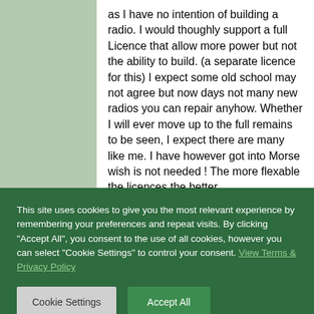as I have no intention of building a radio. I would thoughly support a full Licence that allow more power but not the ability to build. (a separate licence for this) I expect some old school may not agree but now days not many new radios you can repair anyhow. Whether I will ever move up to the full remains to be seen, I expect there are many like me. I have however got into Morse wish is not needed ! The more flexable the licences the better.
This site uses cookies to give you the most relevant experience by remembering your preferences and repeat visits. By clicking "Accept All", you consent to the use of all cookies, however you can select "Cookie Settings" to control your consent. View Terms & Privacy Policy